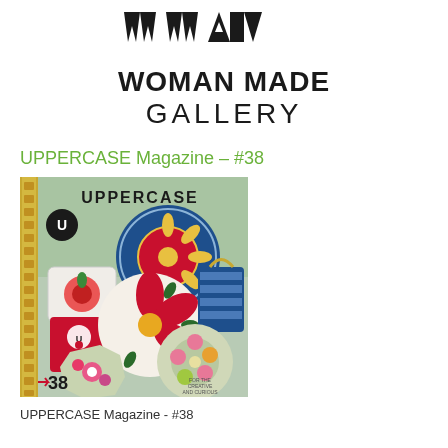[Figure (logo): Woman Made Gallery logo: stylized 'WMG' letterforms in bold black at top]
WOMAN MADE
GALLERY
UPPERCASE Magazine – #38
[Figure (photo): Cover of UPPERCASE Magazine issue #38 featuring colorful decorated tins and round boxes with floral folk art patterns on a sage green background. Black circle with white U logo in upper left, number 38 at bottom left.]
UPPERCASE Magazine - #38